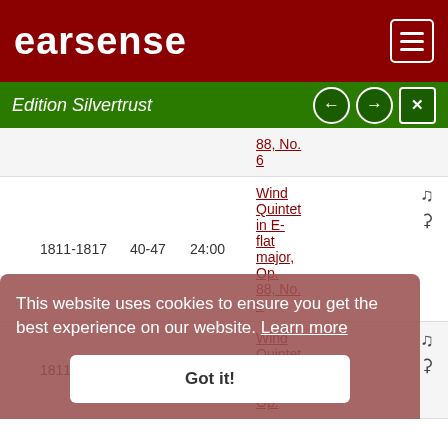earsense
Edition Silvertrust
|  | Date | Op. | Duration | Work |  |
| --- | --- | --- | --- | --- | --- |
|  |  |  |  | 88, No. 6 |  |
|  | 1811-1817 | 40-47 | 24:00 | Wind Quintet in E-flat major, Op. 88, No. 6 | 🎵🎧 |
|  | 1811-1817 | 40-47 | 21:00 | Wind Quintet in e minor, Op. | 🎵🎧 |
This website uses cookies to ensure you get the best experience on our website. Learn more
Got it!